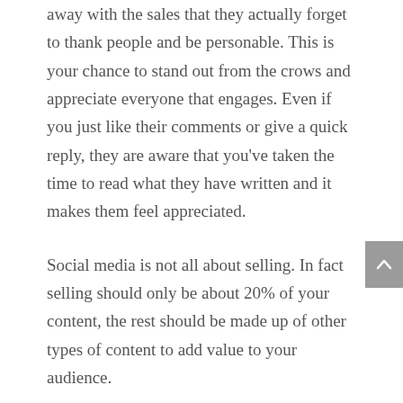away with the sales that they actually forget to thank people and be personable. This is your chance to stand out from the crows and appreciate everyone that engages. Even if you just like their comments or give a quick reply, they are aware that you've taken the time to read what they have written and it makes them feel appreciated.
Social media is not all about selling. In fact selling should only be about 20% of your content, the rest should be made up of other types of content to add value to your audience.